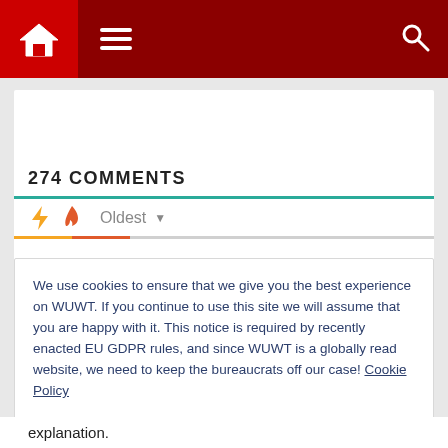Navigation bar with home icon, menu icon, search icon
274 COMMENTS
⚡ 🔥 Oldest ▾
We use cookies to ensure that we give you the best experience on WUWT. If you continue to use this site we will assume that you are happy with it. This notice is required by recently enacted EU GDPR rules, and since WUWT is a globally read website, we need to keep the bureaucrats off our case! Cookie Policy
Close and accept
explanation.